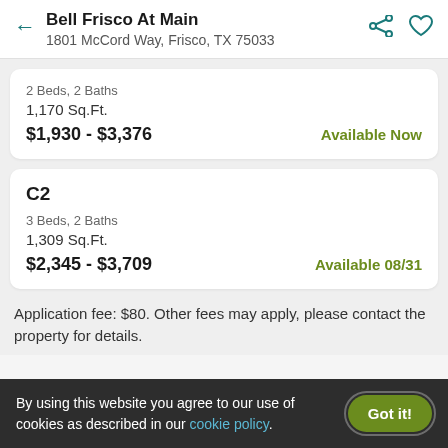Bell Frisco At Main
1801 McCord Way, Frisco, TX 75033
2 Beds, 2 Baths
1,170 Sq.Ft.
$1,930 - $3,376
Available Now
C2
3 Beds, 2 Baths
1,309 Sq.Ft.
$2,345 - $3,709
Available 08/31
Application fee: $80. Other fees may apply, please contact the property for details.
By using this website you agree to our use of cookies as described in our cookie policy.